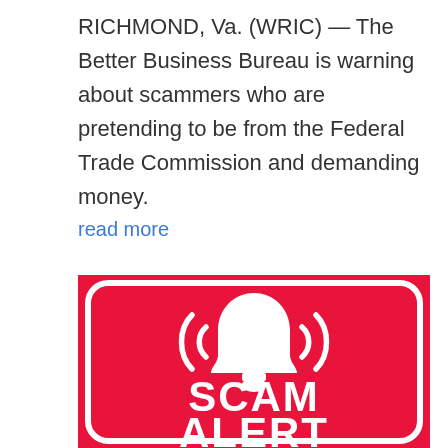RICHMOND, Va. (WRIC) — The Better Business Bureau is warning about scammers who are pretending to be from the Federal Trade Commission and demanding money.
read more
[Figure (illustration): Red square graphic with white text reading 'SCAM ALERT' and a white alarm bell icon with sound waves at the top, all inside a rounded rectangle border outline.]